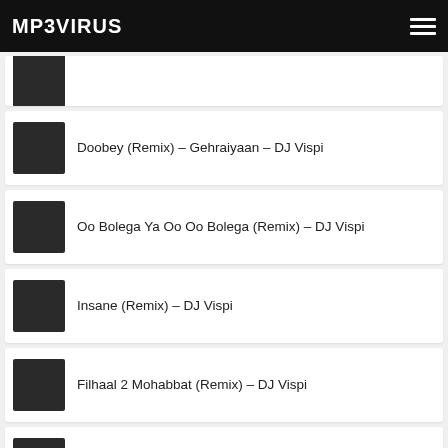MP3VIRUS
(partial item at top)
Doobey (Remix) – Gehraiyaan – DJ Vispi
Oo Bolega Ya Oo Oo Bolega (Remix) – DJ Vispi
Insane (Remix) – DJ Vispi
Filhaal 2 Mohabbat (Remix) – DJ Vispi
Lut Gaye (Remix) – DJ Vispi